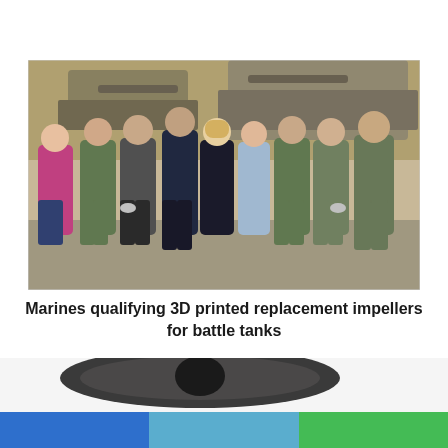[Figure (photo): Group photo of marines in camouflage uniforms and civilians standing in front of military battle tanks in a warehouse or depot. Some individuals are holding small 3D printed objects.]
Marines qualifying 3D printed replacement impellers for battle tanks
[Figure (photo): Close-up photo of 3D printed impeller parts made of dark/black material, shown against a white background. Two impeller components visible.]
[Figure (infographic): Footer color bar with three sections: blue, light blue, and green.]